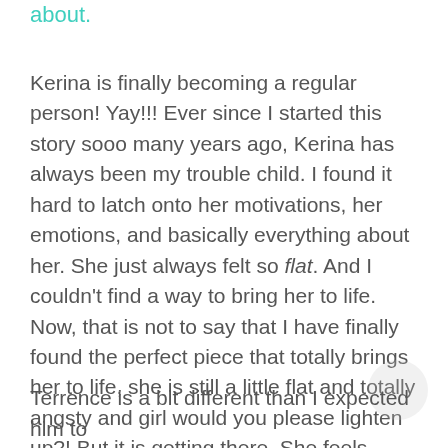about.
Kerina is finally becoming a regular person! Yay!!! Ever since I started this story sooo many years ago, Kerina has always been my trouble child. I found it hard to latch onto her motivations, her emotions, and basically everything about her. She just always felt so flat. And I couldn't find a way to bring her to life. Now, that is not to say that I have finally found the perfect piece that totally brings her to life, she is still a little flat and totally angsty and girl would you please lighten up?! But it is getting there. She feels more like a real character than she ever has, and I might actually like her now!
Terrence is a bit different than I expected him to